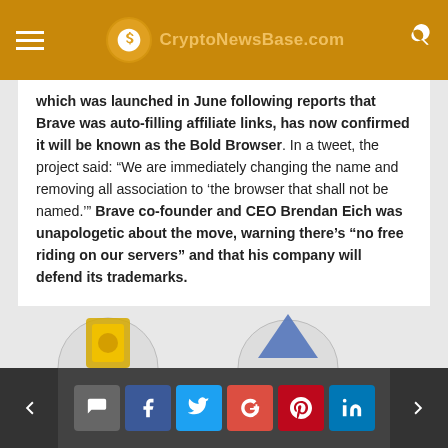CryptoNewsBase.com
which was launched in June following reports that Brave was auto-filling affiliate links, has now confirmed it will be known as the Bold Browser. In a tweet, the project said: “We are immediately changing the name and removing all association to ‘the browser that shall not be named.’” Brave co-founder and CEO Brendan Eich was unapologetic about the move, warning there’s “no free riding on our servers” and that his company will defend its trademarks.
Winners and Losers
[Figure (illustration): Partial illustration showing icons for a winners and losers graphic, cut off at the bottom of the page]
Social share buttons: comment, facebook, twitter, google+, pinterest, linkedin; previous and next navigation arrows